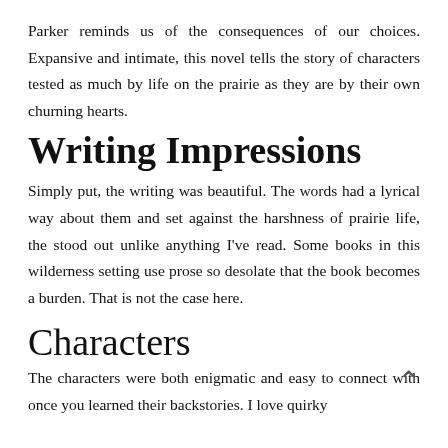Parker reminds us of the consequences of our choices. Expansive and intimate, this novel tells the story of characters tested as much by life on the prairie as they are by their own churning hearts.
Writing Impressions
Simply put, the writing was beautiful. The words had a lyrical way about them and set against the harshness of prairie life, the stood out unlike anything I've read. Some books in this wilderness setting use prose so desolate that the book becomes a burden. That is not the case here.
Characters
The characters were both enigmatic and easy to connect with once you learned their backstories. I love quirky